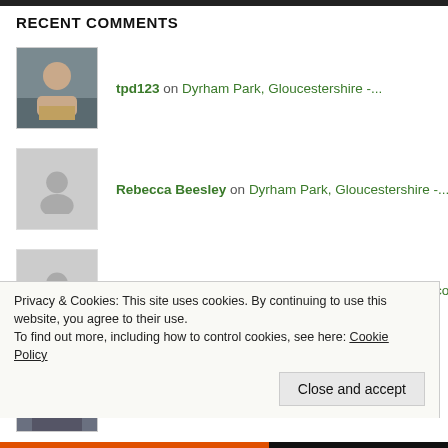RECENT COMMENTS
tpd123 on Dyrham Park, Gloucestershire -...
Rebecca Beesley on Dyrham Park, Gloucestershire -...
Rebecca Beesley on Winner announced- Christmas co...
Lynne Sharpe on Project Indigo Christmas Compe...
Privacy & Cookies: This site uses cookies. By continuing to use this website, you agree to their use. To find out more, including how to control cookies, see here: Cookie Policy
Close and accept